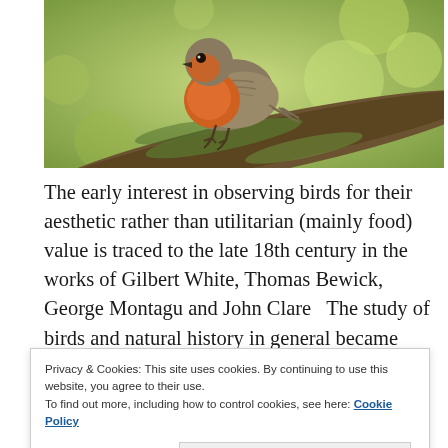[Figure (photo): A European robin bird perched on a moss-covered branch, with orange-red breast visible, against a blurred green bokeh background.]
The early interest in observing birds for their aesthetic rather than utilitarian (mainly food) value is traced to the late 18th century in the works of Gilbert White, Thomas Bewick, George Montagu and John Clare   The study of birds and natural history in general became
Privacy & Cookies: This site uses cookies. By continuing to use this website, you agree to their use.
To find out more, including how to control cookies, see here: Cookie Policy
Close and accept
late 19th century that the call for bird protection began